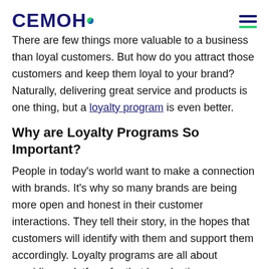CEMOH
There are few things more valuable to a business than loyal customers. But how do you attract those customers and keep them loyal to your brand? Naturally, delivering great service and products is one thing, but a loyalty program is even better.
Why are Loyalty Programs So Important?
People in today's world want to make a connection with brands. It's why so many brands are being more open and honest in their customer interactions. They tell their story, in the hopes that customers will identify with them and support them accordingly. Loyalty programs are all about providing a platform for that long-lasting connection.